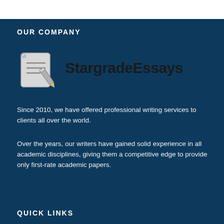OUR COMPANY
[Figure (logo): StargradeEssays logo with a document and pen icon on the left and bold text 'StargradeEssays' on the right]
Since 2010, we have offered professional writing services to clients all over the world.
Over the years, our writers have gained solid experience in all academic disciplines, giving them a competitive edge to provide only first-rate academic papers.
QUICK LINKS